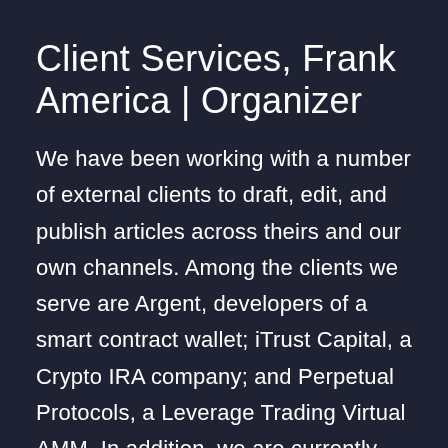Client Services, Frank America | Organizer
We have been working with a number of external clients to draft, edit, and publish articles across theirs and our own channels. Among the clients we serve are Argent, developers of a smart contract wallet; iTrust Capital, a Crypto IRA company; and Perpetual Protocols, a Leverage Trading Virtual AMM. In addition, we are currently collaborating with Bankless HQ to draft a complete